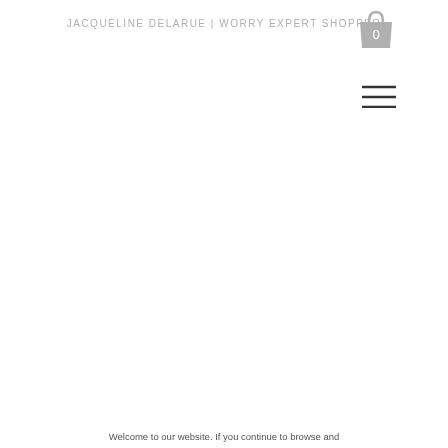JACQUELINE DELARUE | WORRY EXPERT SHOPPER
[Figure (icon): Shopping bag icon with number 0 inside, colored gray]
[Figure (icon): Hamburger menu icon (three horizontal lines), dark gray]
Welcome to our website. If you continue to browse and